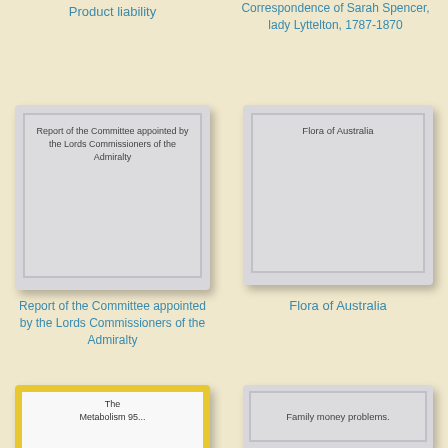Product liability
Correspondence of Sarah Spencer, lady Lyttelton, 1787-1870
[Figure (illustration): Book cover placeholder for Report of the Committee appointed by the Lords Commissioners of the Admiralty]
[Figure (illustration): Book cover placeholder for Flora of Australia]
Report of the Committee appointed by the Lords Commissioners of the Admiralty
Flora of Australia
[Figure (illustration): Yellow cover book: The Metabolism...]
[Figure (illustration): Book cover placeholder for Family money problems.]
Family money problems.